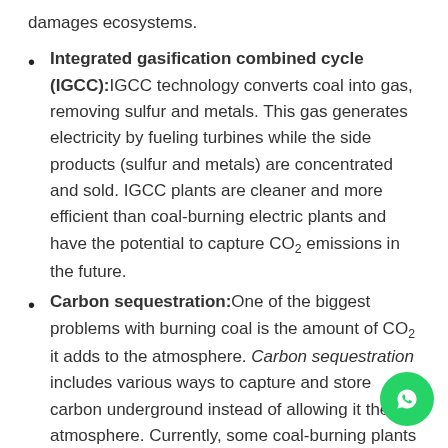damages ecosystems.
Integrated gasification combined cycle (IGCC): IGCC technology converts coal into gas, removing sulfur and metals. This gas generates electricity by fueling turbines while the side products (sulfur and metals) are concentrated and sold. IGCC plants are cleaner and more efficient than coal-burning electric plants and have the potential to capture CO2 emissions in the future.
Carbon sequestration: One of the biggest problems with burning coal is the amount of CO2 it adds to the atmosphere. Carbon sequestration includes various ways to capture and store carbon underground instead of allowing it the atmosphere. Currently, some coal-burning plants